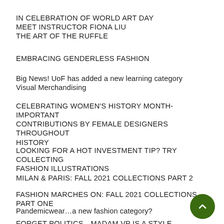IN CELEBRATION OF WORLD ART DAY
MEET INSTRUCTOR FIONA LIU
THE ART OF THE RUFFLE
EMBRACING GENDERLESS FASHION
Big News! UoF has added a new learning category
Visual Merchandising
CELEBRATING WOMEN'S HISTORY MONTH-IMPORTANT CONTRIBUTIONS BY FEMALE DESIGNERS THROUGHOUT HISTORY
LOOKING FOR A HOT INVESTMENT TIP? TRY COLLECTING FASHION ILLUSTRATIONS
MILAN & PARIS: FALL 2021 COLLECTIONS PART 2
FASHION MARCHES ON: FALL 2021 COLLECTIONS PART ONE
Pandemicwear…a new fashion category?
FORGET POLITICS…MADAM VP IS A STYLE ICON IN THE MAKI…